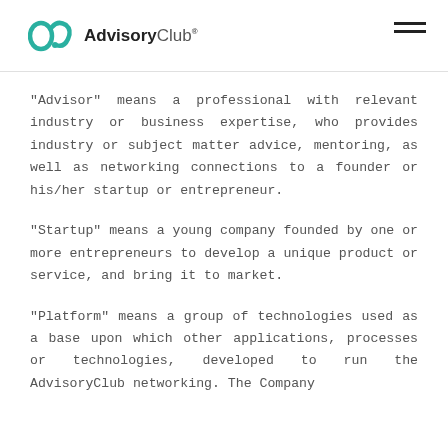AdvisoryClub
“Advisor” means a professional with relevant industry or business expertise, who provides industry or subject matter advice, mentoring, as well as networking connections to a founder or his/her startup or entrepreneur.
“Startup” means a young company founded by one or more entrepreneurs to develop a unique product or service, and bring it to market.
“Platform” means a group of technologies used as a base upon which other applications, processes or technologies, developed to run the AdvisoryClub networking. The Company